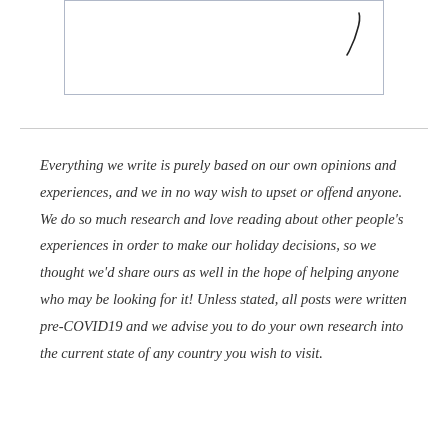[Figure (illustration): A rectangular box with a handwritten signature or mark in the upper right area, resembling a signature field.]
Everything we write is purely based on our own opinions and experiences, and we in no way wish to upset or offend anyone. We do so much research and love reading about other people's experiences in order to make our holiday decisions, so we thought we'd share ours as well in the hope of helping anyone who may be looking for it! Unless stated, all posts were written pre-COVID19 and we advise you to do your own research into the current state of any country you wish to visit.